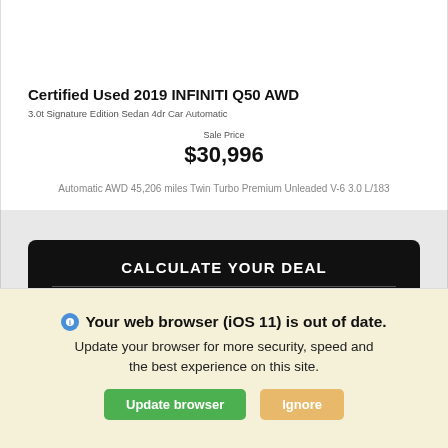Certified Used 2019 INFINITI Q50 AWD
3.0t Signature Edition Sedan 4dr Car Automatic
Sale Price
$30,996
Automatic AWD 45,206 miles Twin Turbo Premium Unleaded V-6 3.0 L/183
CALCULATE YOUR DEAL
GET BEST DEAL
*First Name
*Last Name
Your web browser (iOS 11) is out of date.
Update your browser for more security, speed and the best experience on this site.
Update browser
Ignore